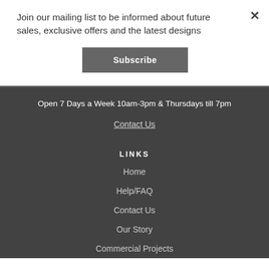Join our mailing list to be informed about future sales, exclusive offers and the latest designs
Subscribe
Open 7 Days a Week 10am-3pm & Thursdays till 7pm
Contact Us
LINKS
Home
Help/FAQ
Contact Us
Our Story
Commercial Projects